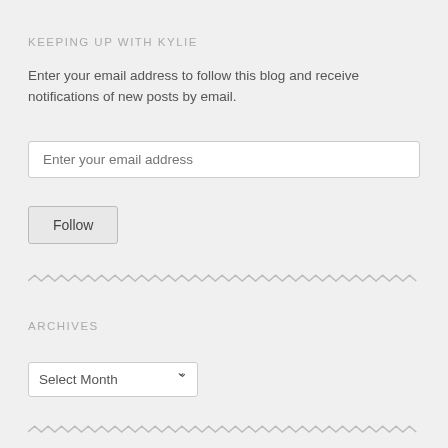KEEPING UP WITH KYLIE
Enter your email address to follow this blog and receive notifications of new posts by email.
ARCHIVES
TAGS